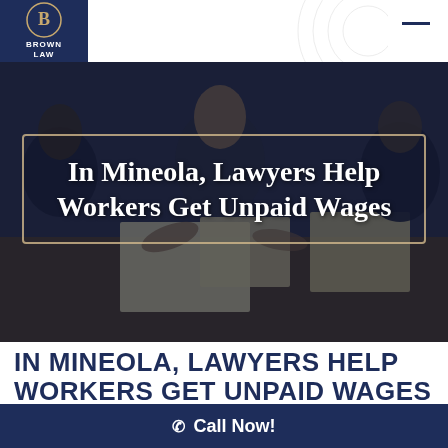Brown Law
[Figure (photo): Lawyers at a table reviewing documents, dark overlay background]
In Mineola, Lawyers Help Workers Get Unpaid Wages
IN MINEOLA, LAWYERS HELP WORKERS GET UNPAID WAGES
Call Now!